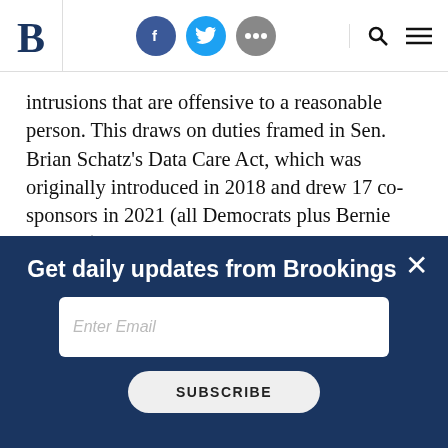Brookings Institution header with logo, social icons (Facebook, Twitter, share), search and menu icons
intrusions that are offensive to a reasonable person. This draws on duties framed in Sen. Brian Schatz's Data Care Act, which was originally introduced in 2018 and drew 17 co-sponsors in 2021 (all Democrats plus Bernie Sanders). The Colorado privacy law also has provisions along similar lines.
[Figure (screenshot): Newsletter signup banner with dark navy background reading 'Get daily updates from Brookings', an email input field, and a Subscribe button]